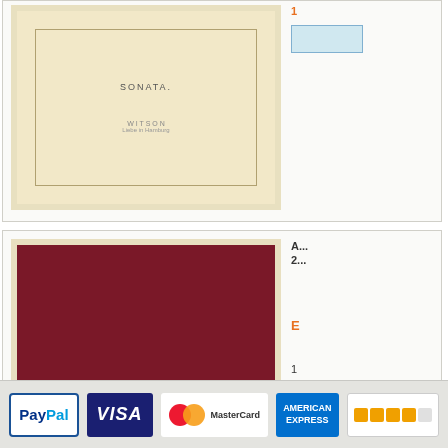[Figure (screenshot): E-commerce product listing page showing two book product cards on the right side, a pagination bar, and a footer with payment method logos (PayPal, Visa, MasterCard, American Express, Trusted Shops). The left portion of the page is white/blank. Visible are two antique book thumbnails, orange price text, blue links, and pagination buttons labeled Gert, 1, 2, 3, 4.]
PayPal  VISA  MasterCard  AMEX  Trusted Shops